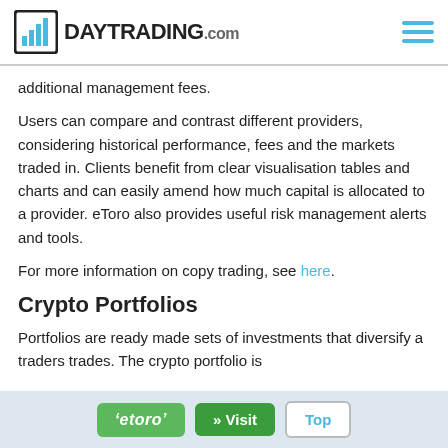DAYTRADING.com
additional management fees.
Users can compare and contrast different providers, considering historical performance, fees and the markets traded in. Clients benefit from clear visualisation tables and charts and can easily amend how much capital is allocated to a provider. eToro also provides useful risk management alerts and tools.
For more information on copy trading, see here.
Crypto Portfolios
Portfolios are ready made sets of investments that diversify a traders trades. The crypto portfolio is
eToro  » Visit  Top